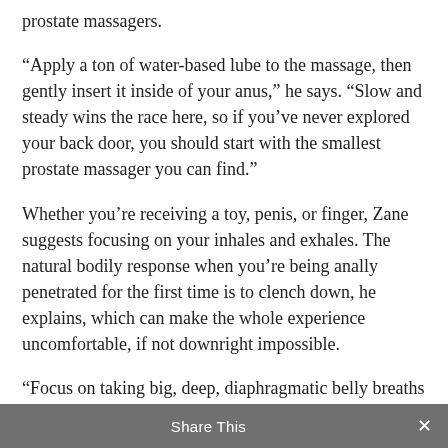prostate massagers.
“Apply a ton of water-based lube to the massage, then gently insert it inside of your anus,” he says. “Slow and steady wins the race here, so if you’ve never explored your back door, you should start with the smallest prostate massager you can find.”
Whether you’re receiving a toy, penis, or finger, Zane suggests focusing on your inhales and exhales. The natural bodily response when you’re being anally penetrated for the first time is to clench down, he explains, which can make the whole experience uncomfortable, if not downright impossible.
“Focus on taking big, deep, diaphragmatic belly breaths while you play. This will help you relax,” he says. Breathing may have the power to extend your orgasm, too.
Share This ×